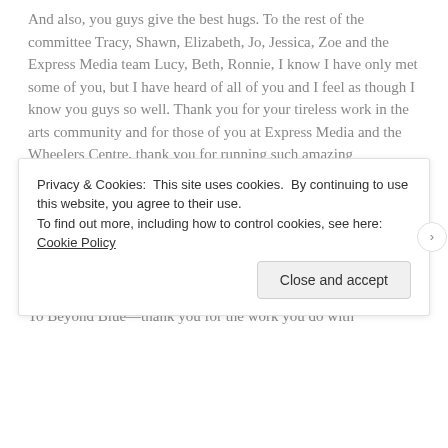And also, you guys give the best hugs. To the rest of the committee Tracy, Shawn, Elizabeth, Jo, Jessica, Zoe and the Express Media team Lucy, Beth, Ronnie, I know I have only met some of you, but I have heard of all of you and I feel as though I know you guys so well. Thank you for your tireless work in the arts community and for those of you at Express Media and the Wheelers Centre, thank you for running such amazing institutions.
[Figure (other): WordPress advertisement banner: 'Create immersive stories. GET THE APP' with WordPress logo on a blue-green-yellow gradient background]
To Beyond Blue—thank you for the work you do with
Privacy & Cookies: This site uses cookies. By continuing to use this website, you agree to their use. To find out more, including how to control cookies, see here: Cookie Policy
Close and accept